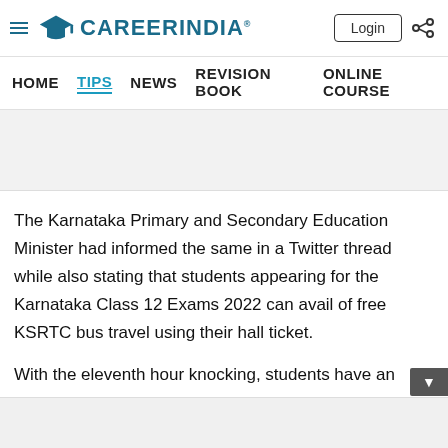[Figure (logo): CareerIndia logo with graduation cap icon and hamburger menu]
HOME  TIPS  NEWS  REVISION BOOK  ONLINE COURSE
The Karnataka Primary and Secondary Education Minister had informed the same in a Twitter thread while also stating that students appearing for the Karnataka Class 12 Exams 2022 can avail of free KSRTC bus travel using their hall ticket.
With the eleventh hour knocking, students have an